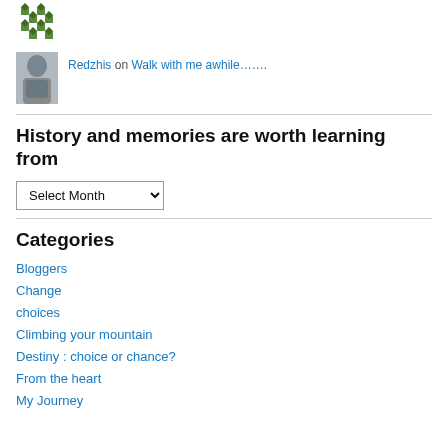[Figure (illustration): Green geometric/diamond pattern avatar icon]
Redzhis on Walk with me awhile…….
[Figure (photo): Photo of a man in a grey t-shirt]
History and memories are worth learning from
Select Month (dropdown)
Categories
Bloggers
Change
choices
Climbing your mountain
Destiny : choice or chance?
From the heart
My Journey